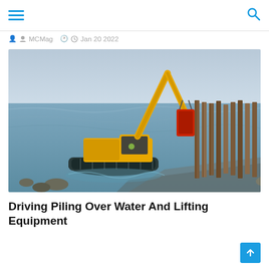MCMag | Jan 20 2022
[Figure (photo): A yellow amphibious excavator operating in shallow coastal water near shore, driving sheet piling into the seabed. The machine has caterpillar tracks and is partially submerged. Wooden/steel sheet piles are visible to the right. A worker in a high-visibility vest is visible in the cab. The sky is overcast and the sea is choppy.]
Driving Piling Over Water And Lifting Equipment